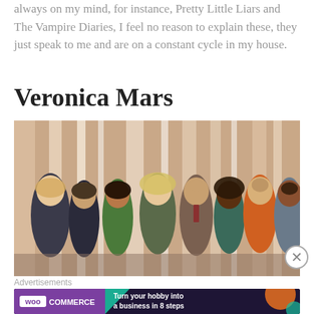always on my mind, for instance, Pretty Little Liars and The Vampire Diaries, I feel no reason to explain these, they just speak to me and are on a constant cycle in my house.
Veronica Mars
[Figure (photo): Cast photo of Veronica Mars TV show — group of roughly 8-9 actors standing together against a blurred background with vertical light streaks]
Advertisements
[Figure (infographic): WooCommerce advertisement banner: purple/dark background with teal and orange geometric shapes. WooCommerce logo on left, text 'Turn your hobby into a business in 8 steps' on right.]